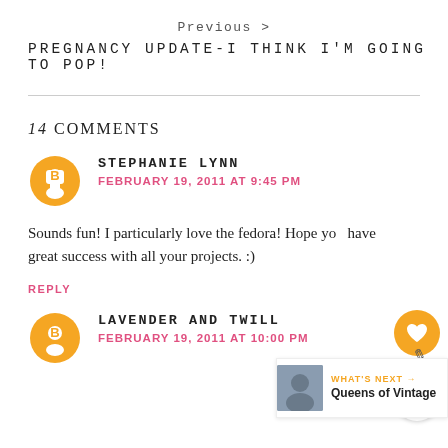Previous >
PREGNANCY UPDATE-I THINK I'M GOING TO POP!
14 COMMENTS
STEPHANIE LYNN
FEBRUARY 19, 2011 AT 9:45 PM
Sounds fun! I particularly love the fedora! Hope you have great success with all your projects. :)
REPLY
LAVENDER AND TWILL
FEBRUARY 19, 2011 AT 10:00 PM